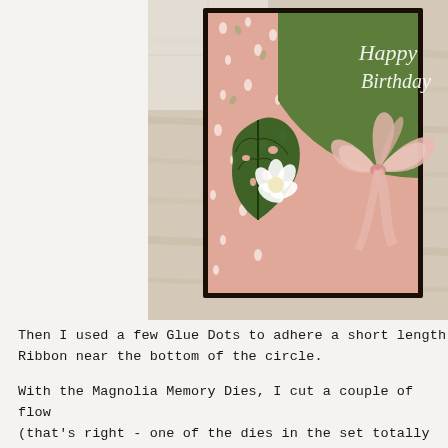[Figure (photo): A handmade Happy Birthday card with green semi-circle top-right area with cursive white 'Happy Birthday' text, pink patterned paper with small floral motifs (magnolia buds), dark green die-cut leaf/foliage, a white flower, and a pink sheer ribbon bow on the right side. The card is placed on a light wood surface.]
Then I used a few Glue Dots to adhere a short length Ribbon near the bottom of the circle.
With the Magnolia Memory Dies, I cut a couple of flow (that's right - one of the dies in the set totally cuts o the papers! How cool is that??).  I also cut out two l from the method...